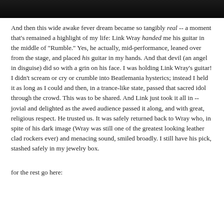[Figure (photo): Dark cropped photo strip at top of page, showing partial image of a person]
And then this wide awake fever dream became so tangibly real -- a moment that's remained a highlight of my life: Link Wray handed me his guitar in the middle of "Rumble." Yes, he actually, mid-performance, leaned over from the stage, and placed his guitar in my hands. And that devil (an angel in disguise) did so with a grin on his face. I was holding Link Wray's guitar! I didn't scream or cry or crumble into Beatlemania hysterics; instead I held it as long as I could and then, in a trance-like state, passed that sacred idol through the crowd. This was to be shared. And Link just took it all in -- jovial and delighted as the awed audience passed it along, and with great, religious respect. He trusted us. It was safely returned back to Wray who, in spite of his dark image (Wray was still one of the greatest looking leather clad rockers ever) and menacing sound, smiled broadly. I still have his pick, stashed safely in my jewelry box.
for the rest go here: